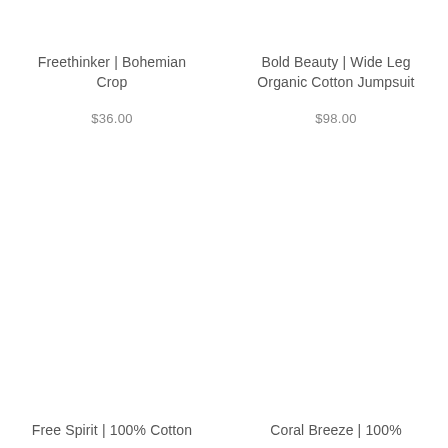Freethinker | Bohemian Crop
$36.00
Bold Beauty | Wide Leg Organic Cotton Jumpsuit
$98.00
Free Spirit | 100% Cotton
Coral Breeze | 100%